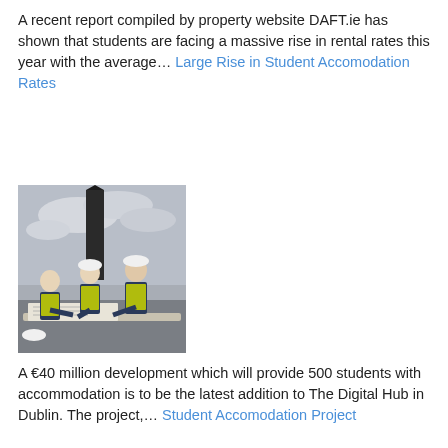A recent report compiled by property website DAFT.ie has shown that students are facing a massive rise in rental rates this year with the average… Large Rise in Student Accomodation Rates
[Figure (photo): Three people in yellow hi-vis vests and hard hats reviewing documents or plans at a construction site, with a tall dark structure visible in the background against a grey sky.]
A €40 million development which will provide 500 students with accommodation is to be the latest addition to The Digital Hub in Dublin. The project,… Student Accomodation Project